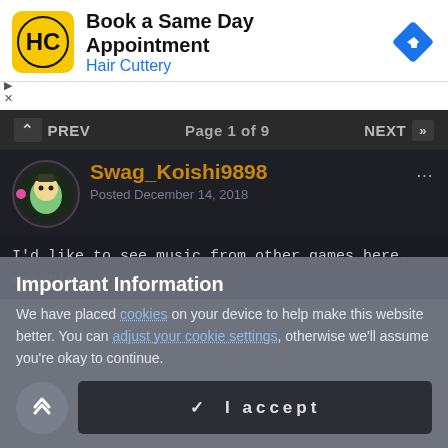[Figure (screenshot): Hair Cuttery advertisement banner with logo, 'Book a Same Day Appointment' headline, and navigation arrow icon]
PREV   Page 1 of 9   NEXT
[Figure (illustration): Anime-style avatar of user Swag_Koishi9898]
Swag_Koishi9898
Posted December 14, 2018
I'd like to see music from other games here.
example :
Important Information
We have placed cookies on your device to help make this website better. You can adjust your cookie settings, otherwise we'll assume you're okay to continue.
✔  I accept